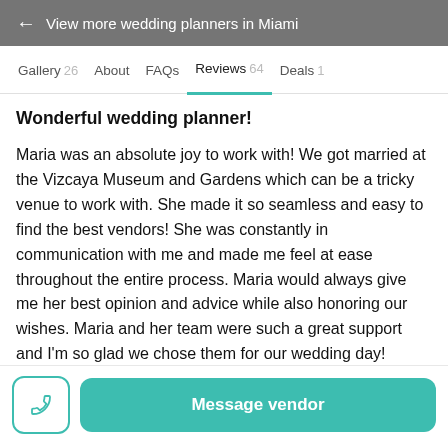← View more wedding planners in Miami
Gallery 26   About   FAQs   Reviews 64   Deals 1
Wonderful wedding planner!
Maria was an absolute joy to work with! We got married at the Vizcaya Museum and Gardens which can be a tricky venue to work with. She made it so seamless and easy to find the best vendors! She was constantly in communication with me and made me feel at ease throughout the entire process. Maria would always give me her best opinion and advice while also honoring our wishes. Maria and her team were such a great support and I'm so glad we chose them for our wedding day!
Message vendor